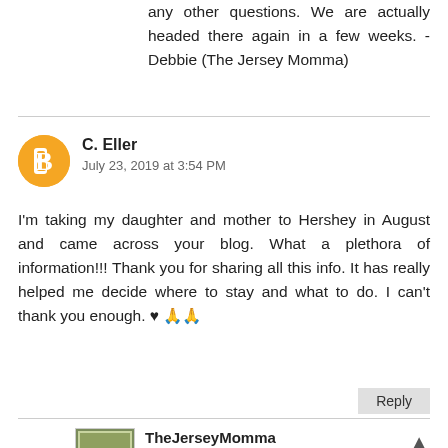any other questions. We are actually headed there again in a few weeks. -Debbie (The Jersey Momma)
C. Eller
July 23, 2019 at 3:54 PM
I'm taking my daughter and mother to Hershey in August and came across your blog. What a plethora of information!!! Thank you for sharing all this info. It has really helped me decide where to stay and what to do. I can't thank you enough. ♥ 🙏🙏
TheJerseyMomma
July 23, 2019 at 4:32 PM